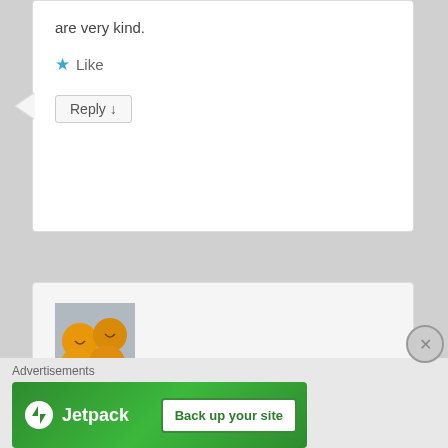are very kind.
Like
Reply ↓
[Figure (photo): Avatar image of ETrade Supply showing orange/yellow baked goods or decorative items on a grey background]
ETrade Supply on 2012-12-13 at 05:05 said:
Always be thanksful, and life will be greatful.
Like
Advertisements
[Figure (logo): Jetpack advertisement banner with green background showing Jetpack logo and 'Back up your site' button]